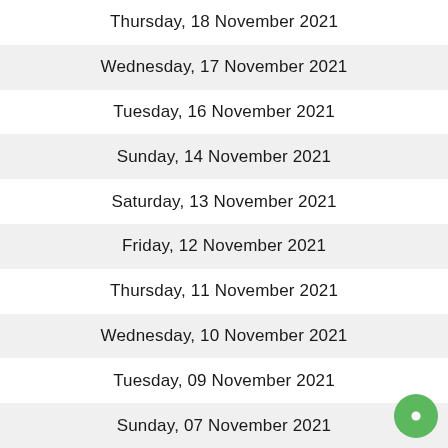Thursday, 18 November 2021
Wednesday, 17 November 2021
Tuesday, 16 November 2021
Sunday, 14 November 2021
Saturday, 13 November 2021
Friday, 12 November 2021
Thursday, 11 November 2021
Wednesday, 10 November 2021
Tuesday, 09 November 2021
Sunday, 07 November 2021